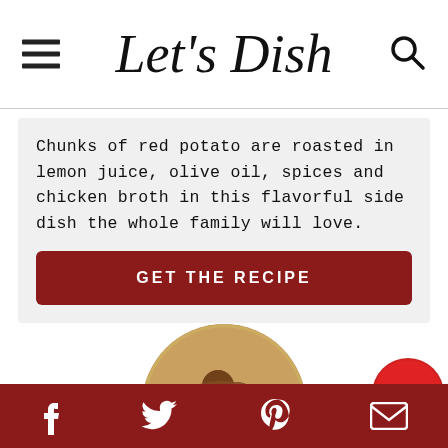Let's Dish
Chunks of red potato are roasted in lemon juice, olive oil, spices and chicken broth in this flavorful side dish the whole family will love.
GET THE RECIPE
[Figure (photo): Circular food photo showing meatballs or meat dish served over egg noodles/pasta with mushrooms and herbs]
Social share icons: Facebook, Twitter, Pinterest, Email, Share